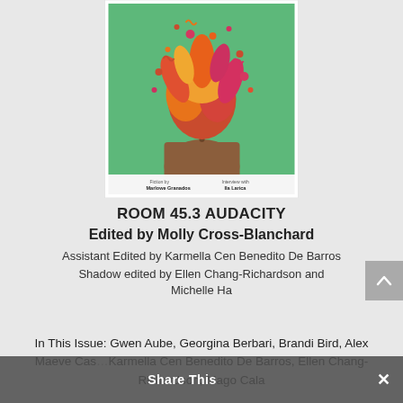[Figure (illustration): Book cover of ROOM 45.3 AUDACITY with illustrated artwork showing a figure in a brown jacket with colorful floral/abstract explosion emerging from the head area on a green background. Small text at the bottom of the cover reads 'Fiction by Marlowe Granados' and 'Interview with Ila Larica'.]
ROOM 45.3 AUDACITY
Edited by Molly Cross-Blanchard
Assistant Edited by Karmella Cen Benedito De Barros
Shadow edited by Ellen Chang-Richardson and Michelle Ha
In This Issue: Gwen Aube, Georgina Berbari, Brandi Bird, Alex Maeve Cas, Karmella Cen Benedito De Barros, Ellen Chang-Richardson, Mago Cala
Share This